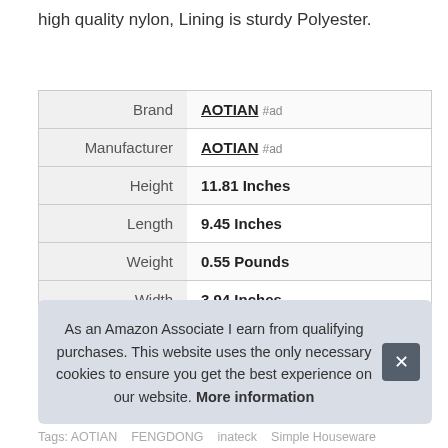high quality nylon, Lining is sturdy Polyester.
| Attribute | Value |
| --- | --- |
| Brand | AOTIAN #ad |
| Manufacturer | AOTIAN #ad |
| Height | 11.81 Inches |
| Length | 9.45 Inches |
| Weight | 0.55 Pounds |
| Width | 3.94 Inches |
| Part Number | Bag015 Black |
As an Amazon Associate I earn from qualifying purchases. This website uses the only necessary cookies to ensure you get the best experience on our website. More information
Tags: AOTIAN   FENGDONG   inateck   Simple Houseware